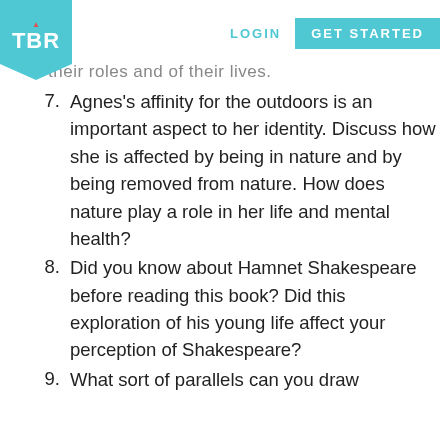TBR | LOGIN | GET STARTED
their roles and of their lives.
7. Agnes's affinity for the outdoors is an important aspect to her identity. Discuss how she is affected by being in nature and by being removed from nature. How does nature play a role in her life and mental health?
8. Did you know about Hamnet Shakespeare before reading this book? Did this exploration of his young life affect your perception of Shakespeare?
9. What sort of parallels can you draw